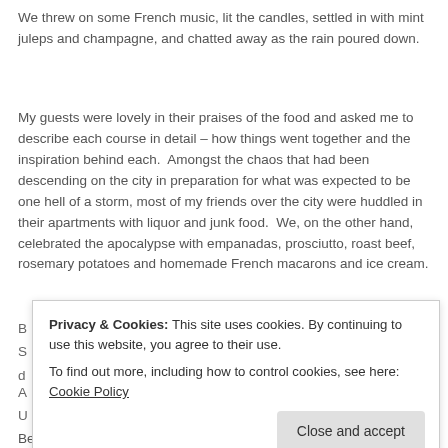We threw on some French music, lit the candles, settled in with mint juleps and champagne, and chatted away as the rain poured down.
My guests were lovely in their praises of the food and asked me to describe each course in detail – how things went together and the inspiration behind each. Amongst the chaos that had been descending on the city in preparation for what was expected to be one hell of a storm, most of my friends over the city were huddled in their apartments with liquor and junk food. We, on the other hand, celebrated the apocalypse with empanadas, prosciutto, roast beef, rosemary potatoes and homemade French macarons and ice cream.
Privacy & Cookies: This site uses cookies. By continuing to use this website, you agree to their use. To find out more, including how to control cookies, see here: Cookie Policy
Because of the lack of light in the apartment due to the storm t